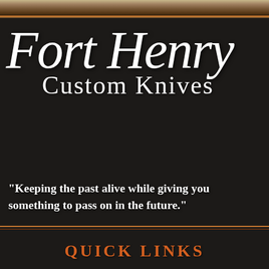[Figure (logo): Fort Henry Custom Knives logo with decorative top band on dark background]
Fort Henry Custom Knives
"Keeping the past alive while giving you something to pass on in the future."
QUICK LINKS